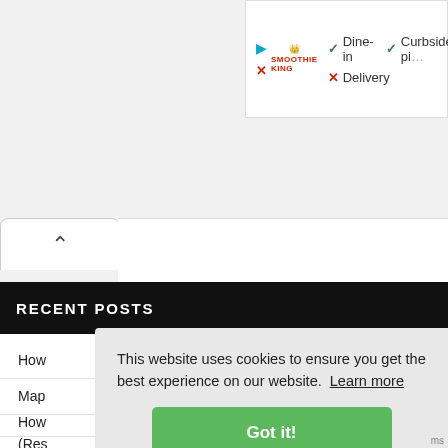[Figure (screenshot): Top-right portion of a restaurant listing showing Smoothie King logo with play icon, check marks for Dine-in and Curbside pickup, and X for Delivery]
[Figure (screenshot): Collapse/chevron up button tab on left side]
RECENT POSTS
How
Map
How
(Res
This website uses cookies to ensure you get the best experience on our website.  Learn more